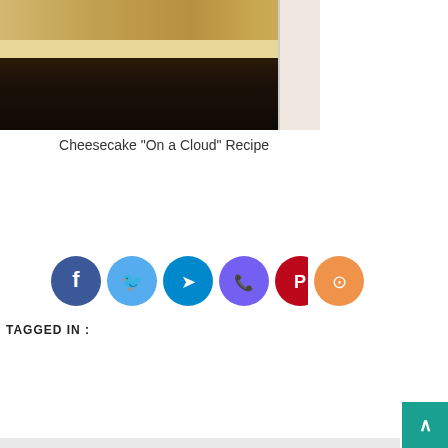[Figure (photo): Close-up photo of cheesecake slices showing layers of crust and creamy filling on a dark surface]
Cheesecake "On a Cloud" Recipe
[Figure (infographic): Row of 6 social share icons: Facebook (dark blue circle), Twitter (light blue circle), Telegram (cyan circle), Viber (purple circle), Pinterest (red circle), Share (orange circle)]
TAGGED IN :
BAKING DISHES RECIPES
DOUGH DISHES
HOMEMADE BREAD RECIPES